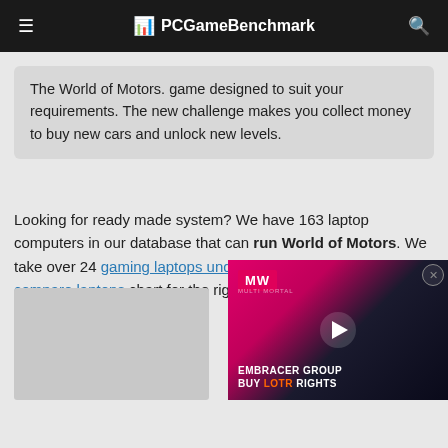PCGameBenchmark
The World of Motors. game designed to suit your requirements. The new challenge makes you collect money to buy new cars and unlock new levels.
Looking for ready made system? We have 163 laptop computers in our database that can run World of Motors. We take over 24 gaming laptops under $1000. Check our full compare laptops chart for the right systems or these best deals w...
[Figure (screenshot): Video advertisement overlay for 'Embracer Group Buy LOTR Rights' with MW logo, play button, and dark background with human silhouette]